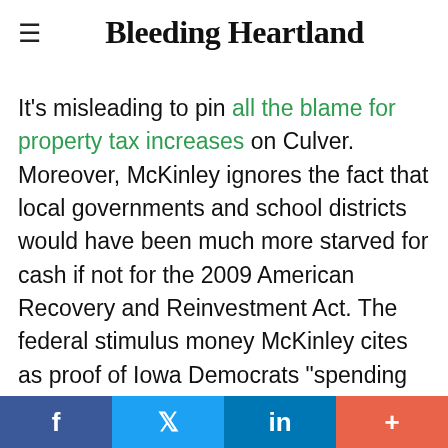≡ Bleeding Heartland
It's misleading to pin all the blame for property tax increases on Culver. Moreover, McKinley ignores the fact that local governments and school districts would have been much more starved for cash if not for the 2009 American Recovery and Reinvestment Act. The federal stimulus money McKinley cites as proof of Iowa Democrats "spending too much" helped prevent even larger property tax increases during the most severe recession in 60
f  [Twitter bird]  in  +